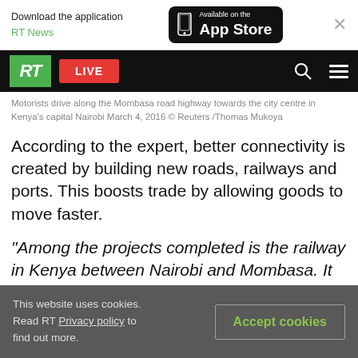Download the application RT News | Available on the App Store
[Figure (screenshot): RT news website navigation bar with RT logo, LIVE button, search and menu icons]
Motorists drive along the Mombasa road highway towards the city centre in Kenya's capital Nairobi March 4, 2016 © Reuters /Thomas Mukoya
According to the expert, better connectivity is created by building new roads, railways and ports. This boosts trade by allowing goods to move faster.
"Among the projects completed is the railway in Kenya between Nairobi and Mombasa. It is already operational and has improved the efficiency and
This website uses cookies. Read RT Privacy policy to find out more.